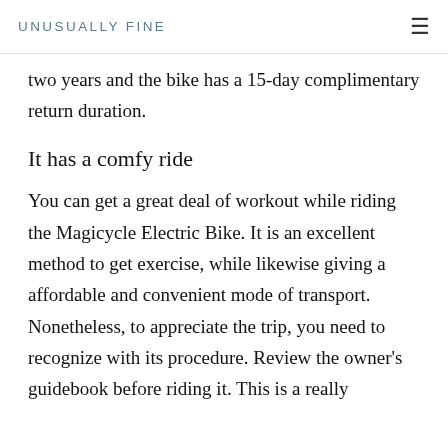UNUSUALLY FINE
two years and the bike has a 15-day complimentary return duration.
It has a comfy ride
You can get a great deal of workout while riding the Magicycle Electric Bike. It is an excellent method to get exercise, while likewise giving a affordable and convenient mode of transport. Nonetheless, to appreciate the trip, you need to recognize with its procedure. Review the owner’s guidebook before riding it. This is a really